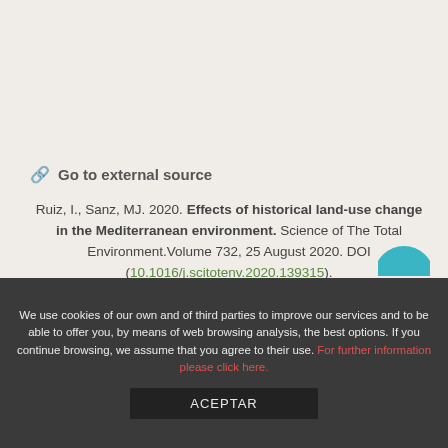🔗 Go to external source
Ruiz, I., Sanz, MJ. 2020. Effects of historical land-use change in the Mediterranean environment. Science of The Total Environment.Volume 732, 25 August 2020. DOI (10.1016/j.scitotenv.2020.139315).
We use cookies of our own and of third parties to improve our services and to be able to offer you, by means of web browsing analysis, the best options. If you continue browsing, we assume that you agree to their use. For further information please click here.
ACEPTAR